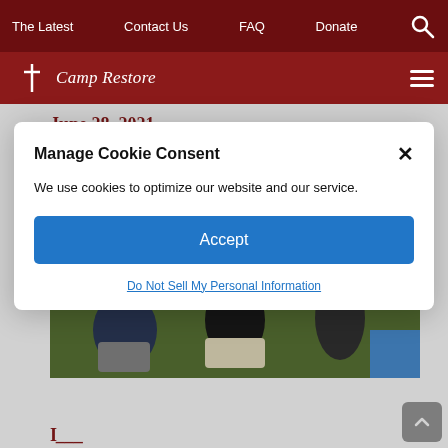The Latest | Contact Us | FAQ | Donate
Camp Restore
June 28, 2021
Manage Cookie Consent
We use cookies to optimize our website and our service.
Accept
Do Not Sell My Personal Information
[Figure (photo): People sitting on folding chairs outdoors on grass, one wearing a camp t-shirt, with a blue table visible on the right side.]